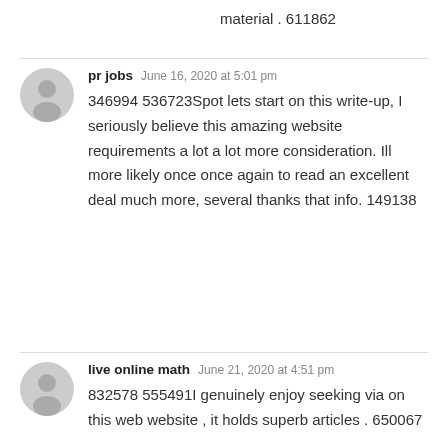material . 611862
pr jobs  June 16, 2020 at 5:01 pm
346994 536723Spot lets start on this write-up, I seriously believe this amazing website requirements a lot a lot more consideration. Ill more likely once once again to read an excellent deal much more, several thanks that info. 149138
live online math  June 21, 2020 at 4:51 pm
832578 555491I genuinely enjoy seeking via on this web website , it holds superb articles . 650067